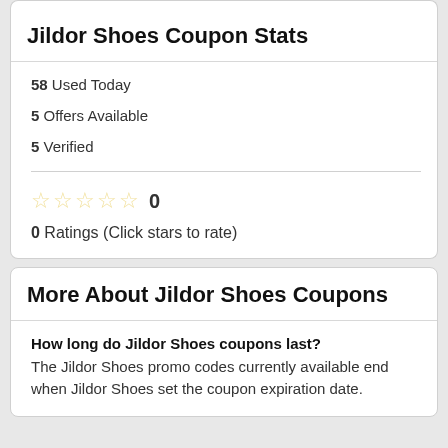Jildor Shoes Coupon Stats
58 Used Today
5 Offers Available
5 Verified
☆ ☆ ☆ ☆ ☆  0
0 Ratings (Click stars to rate)
More About Jildor Shoes Coupons
How long do Jildor Shoes coupons last?
The Jildor Shoes promo codes currently available end when Jildor Shoes set the coupon expiration date.